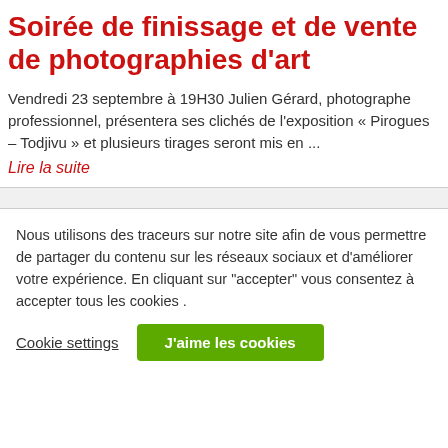Soirée de finissage et de vente de photographies d'art
Vendredi 23 septembre à 19H30 Julien Gérard, photographe professionnel, présentera ses clichés de l'exposition « Pirogues – Todjivu » et plusieurs tirages seront mis en ...
Lire la suite
Nous utilisons des traceurs sur notre site afin de vous permettre de partager du contenu sur les réseaux sociaux et d'améliorer votre expérience. En cliquant sur "accepter" vous consentez à accepter tous les cookies .
Cookie settings
J'aime les cookies